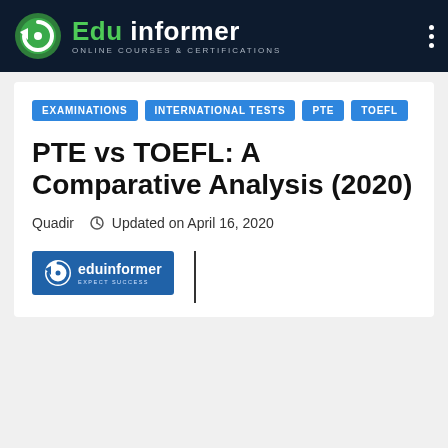Edu informer — ONLINE COURSES & CERTIFICATIONS
EXAMINATIONS
INTERNATIONAL TESTS
PTE
TOEFL
PTE vs TOEFL: A Comparative Analysis (2020)
Quadir  Updated on April 16, 2020
[Figure (logo): Eduinformer logo with circular arrow icon and text 'eduinformer EXPECT SUCCESS' on blue background]